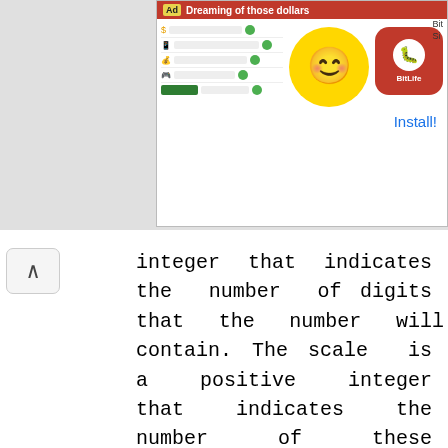[Figure (screenshot): Advertisement banner for BitLife app showing 'Dreaming of those dollars' with a smiley face emoji and BitLife logo, with an Install button]
integer that indicates the number of digits that the number will contain. The scale is a positive integer that indicates the number of these digits that will represent decimal places to the right of the decimal point. The scale for a DECIMAL can specify precision. DECIMAL declared in order The declaration number is presented to an SQL query, but not how it is stored.
[Figure (screenshot): Close button circle overlay (X) on text]
[Figure (screenshot): Video player overlay showing 0:00 timestamp with playback controls and muted audio bar]